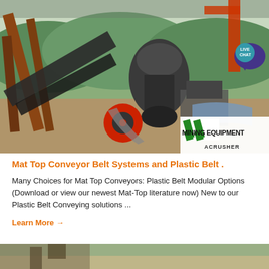[Figure (photo): Mining equipment photo showing industrial crushers and conveyor belts at a mining site with green hills and a river in the background. Overlay text in the lower right reads 'MINING EQUIPMENT ACRUSHER' with green diagonal stripe logo. A 'LIVE CHAT' speech bubble badge appears in the upper right.]
Mat Top Conveyor Belt Systems and Plastic Belt .
Many Choices for Mat Top Conveyors: Plastic Belt Modular Options (Download or view our newest Mat-Top literature now) New to our Plastic Belt Conveying solutions ...
Learn More →
[Figure (photo): Partial bottom image of outdoor mining or quarry equipment scene.]